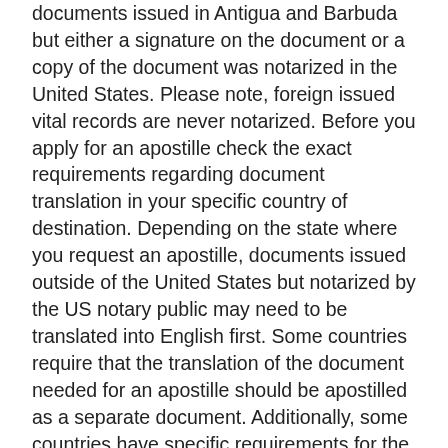documents issued in Antigua and Barbuda but either a signature on the document or a copy of the document was notarized in the United States. Please note, foreign issued vital records are never notarized. Before you apply for an apostille check the exact requirements regarding document translation in your specific country of destination. Depending on the state where you request an apostille, documents issued outside of the United States but notarized by the US notary public may need to be translated into English first. Some countries require that the translation of the document needed for an apostille should be apostilled as a separate document. Additionally, some countries have specific requirements for the translation, or may even require that the translation is done by a certain pre-authorized translator. If you need help with translating your documents, our expert translators can assist you with documents in more than 50 languages.